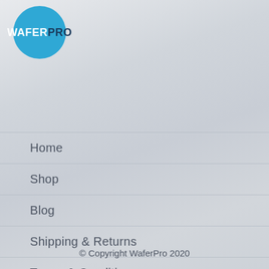[Figure (logo): WaferPro logo: blue circle with white text WAFER and dark navy PRO]
Home
Shop
Blog
Shipping & Returns
Terms & Conditions
Privacy Statement
Contact Us
© Copyright WaferPro 2020